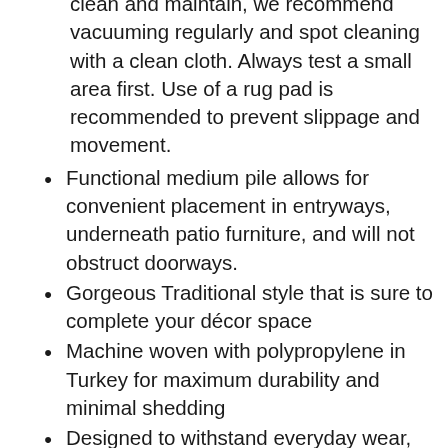clean and maintain, we recommend vacuuming regularly and spot cleaning with a clean cloth. Always test a small area first. Use of a rug pad is recommended to prevent slippage and movement.
Functional medium pile allows for convenient placement in entryways, underneath patio furniture, and will not obstruct doorways.
Gorgeous Traditional style that is sure to complete your décor space
Machine woven with polypropylene in Turkey for maximum durability and minimal shedding
Designed to withstand everyday wear, this rug is kid approved and